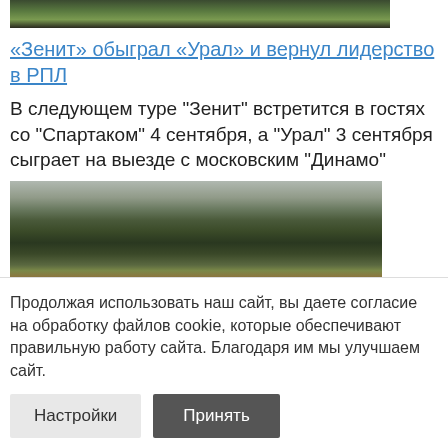[Figure (photo): Partial top image of green surface/grass, cropped at top]
«Зенит» обыграл «Урал» и вернул лидерство в РПЛ
В следующем туре "Зенит" встретится в гостях со "Спартаком" 4 сентября, а "Урал" 3 сентября сыграет на выезде с московским "Динамо"
[Figure (photo): Landscape photo of mossy hills or bushes under a cloudy sky]
Продолжая использовать наш сайт, вы даете согласие на обработку файлов cookie, которые обеспечивают правильную работу сайта. Благодаря им мы улучшаем сайт.
Настройки
Принять